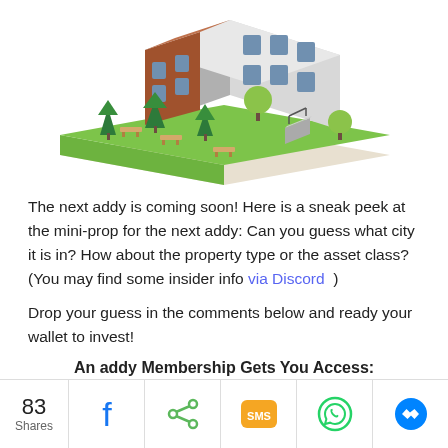[Figure (illustration): Isometric illustration of a multi-story residential/commercial building with green lawn, trees, benches, and a sidewalk.]
The next addy is coming soon! Here is a sneak peek at the mini-prop for the next addy: Can you guess what city it is in? How about the property type or the asset class? (You may find some insider info via Discord )
Drop your guess in the comments below and ready your wallet to invest!
An addy Membership Gets You Access:
[Figure (infographic): Share bar with 83 Shares count and social sharing icons: Facebook, Share/generic, SMS, WhatsApp, Messenger]